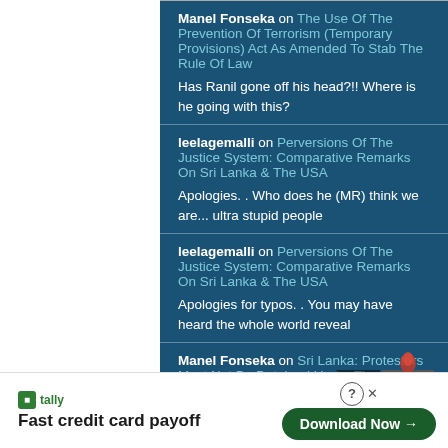Manel Fonseka on The Use Of The Prevention Of Terrorism (Temporary Provisions) Act As Amended To Stab The Rule Of Law
Has Ranil gone off his head?!! Where is he going with this?
leelagemalli on Perversions Of The Justice System: Comparative Remarks On Sri Lanka & The USA
Apologies. . Who does he (MR) think we are... ultra stupid people
leelagemalli on Perversions Of The Justice System: Comparative Remarks On Sri Lanka & The USA
Apologies for typos. . You may have heard the whole world reveal
Manel Fonseka on Sri Lanka: Protesters Must Not Be Detained Under The Draconian
Fast credit card payoff